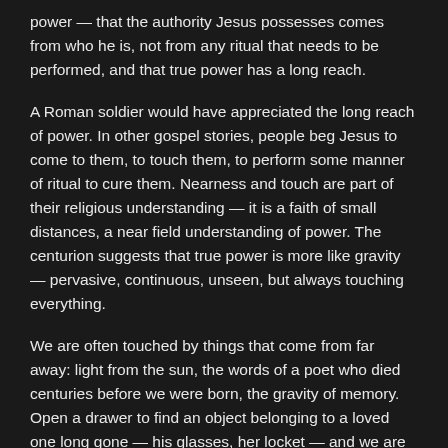power — that the authority Jesus possesses comes from who he is, not from any ritual that needs to be performed, and that true power has a long reach.
A Roman soldier would have appreciated the long reach of power. In other gospel stories, people beg Jesus to come to them, to touch them, to perform some manner of ritual to cure them. Nearness and touch are part of their religious understanding — it is a faith of small distances, a near field understanding of power. The centurion suggests that true power is more like gravity — pervasive, continuous, unseen, but always touching everything.
We are often touched by things that come from far away: light from the sun, the words of a poet who died centuries before we were born, the gravity of memory. Open a drawer to find an object belonging to a loved one long gone — his glasses, her locket — and we are touched once again by the ones we have loved. Modern science posits